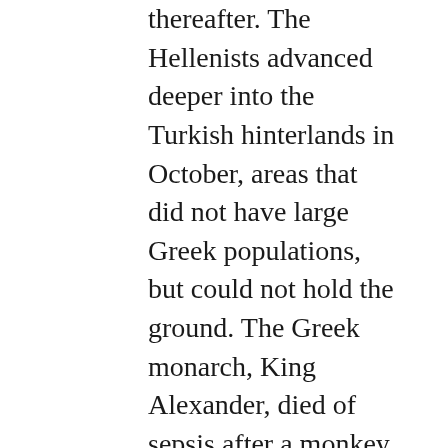thereafter. The Hellenists advanced deeper into the Turkish hinterlands in October, areas that did not have large Greek populations, but could not hold the ground. The Greek monarch, King Alexander, died of sepsis after a monkey bite that same month, and the traditionally fractious Greek government splintered. The Greeks suffered their first defeats at the First and Second Battles of İnönü (Jan and Mar 1921). The conflict also developed into a Great Power struggle. The Soviet Union, increasingly confident of winning the Russian Civil War (1917-1922), began supplying arms to the Ottomans (Treaty of Moscow, 1921)